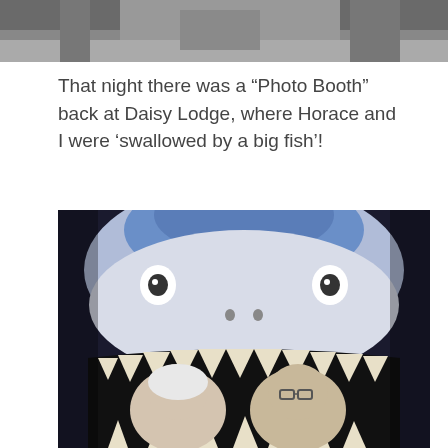[Figure (photo): Top portion of a photograph, partially cropped, showing figures against a dark background]
That night there was a “Photo Booth” back at Daisy Lodge, where Horace and I were ‘swallowed by a big fish’!
[Figure (photo): Photo booth picture of two people (a woman and a man with glasses) appearing to be inside the mouth of a large cartoon shark with big teeth and blue coloring]